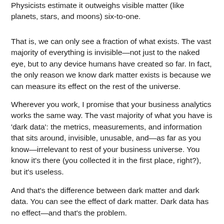Physicists estimate it outweighs visible matter (like planets, stars, and moons) six-to-one.
That is, we can only see a fraction of what exists. The vast majority of everything is invisible—not just to the naked eye, but to any device humans have created so far. In fact, the only reason we know dark matter exists is because we can measure its effect on the rest of the universe.
Wherever you work, I promise that your business analytics works the same way. The vast majority of what you have is 'dark data': the metrics, measurements, and information that sits around, invisible, unusable, and—as far as you know—irrelevant to rest of your business universe. You know it's there (you collected it in the first place, right?), but it's useless.
And that's the difference between dark matter and dark data. You can see the effect of dark matter. Dark data has no effect—and that's the problem.